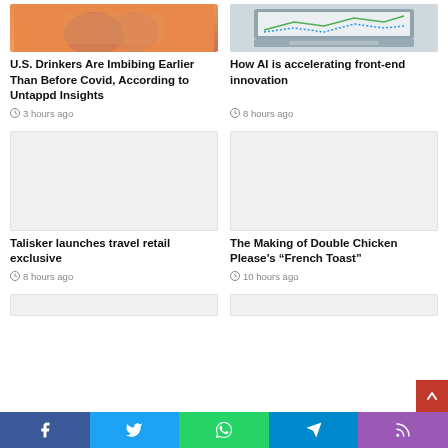[Figure (photo): Orange-toned photo of people, partially visible at top]
U.S. Drinkers Are Imbibing Earlier Than Before Covid, According to Untappd Insights
3 hours ago
[Figure (photo): Laptop showing analytics dashboard with line charts]
How AI is accelerating front-end innovation
8 hours ago
[Figure (photo): Placeholder gray image]
Talisker launches travel retail exclusive
8 hours ago
[Figure (photo): Placeholder gray image]
The Making of Double Chicken Please’s “French Toast”
10 hours ago
[Figure (photo): Partially visible image at bottom]
Facebook | Twitter | WhatsApp | Telegram | RSS